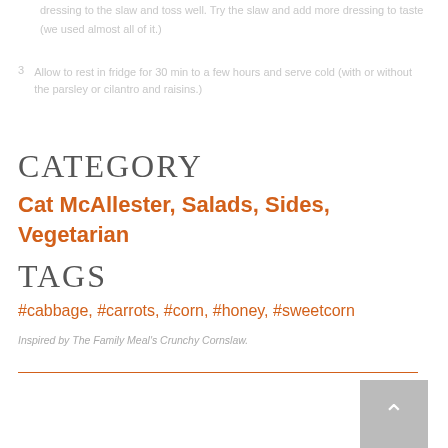dressing to the slaw and toss well. Try the slaw and add more dressing to taste (we used almost all of it.)
3  Allow to rest in fridge for 30 min to a few hours and serve cold (with or without the parsley or cilantro and raisins.)
CATEGORY
Cat McAllester, Salads, Sides, Vegetarian
TAGS
#cabbage, #carrots, #corn, #honey, #sweetcorn
Inspired by The Family Meal's Crunchy Cornslaw.